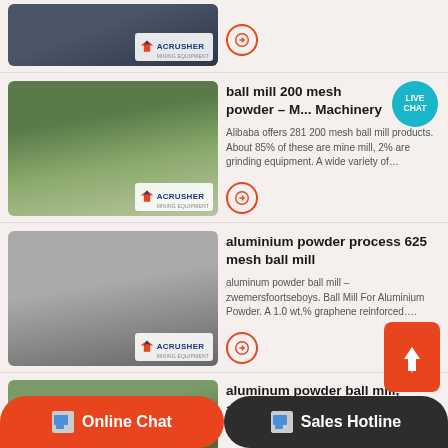[Figure (photo): Mining/crushing equipment photo with ACRUSHER MINING EQUIPMENT logo overlay — partially visible top row]
[Figure (photo): Outdoor mining crushing site with mountains in background, ACRUSHER MINING EQUIPMENT logo overlay]
ball mill 200 mesh powder – M... Machinery
Alibaba offers 281 200 mesh ball mill products. About 85% of these are mine mill, 2% are grinding equipment. A wide variety of…
[Figure (photo): Industrial milling/crushing facility black and white photo with ACRUSHER MINING EQUIPMENT logo overlay]
aluminium powder process 625 mesh ball mill
aluminum powder ball mill – zwemersfoortseboys. Ball Mill For Aluminium Powder. A 1.0 wt.% graphene reinforced….
[Figure (photo): Outdoor mining/quarry site photo, partially visible bottom row]
aluminum powder ball mill, aluminum powder ball mill
Online Chat    Sales Hotline